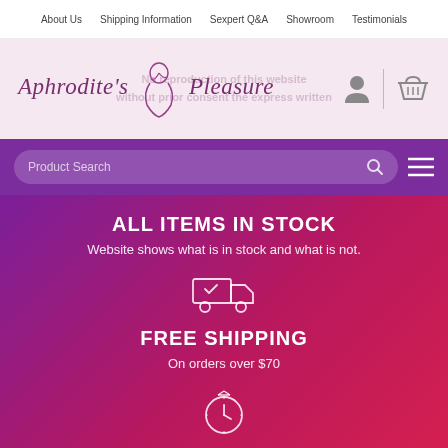About Us | Shipping Information | Sexpert Q&A | Showroom | Testimonials
[Figure (logo): Aphrodite's Pleasure cursive logo with decorative female figure illustration, user icon, and shopping basket icon on pink background]
Product Search
ALL ITEMS IN STOCK
Website shows what is in stock and what is not.
[Figure (illustration): White outline delivery truck with checkmark icon]
FREE SHIPPING
On orders over $70
[Figure (illustration): White outline stopwatch/timer icon]